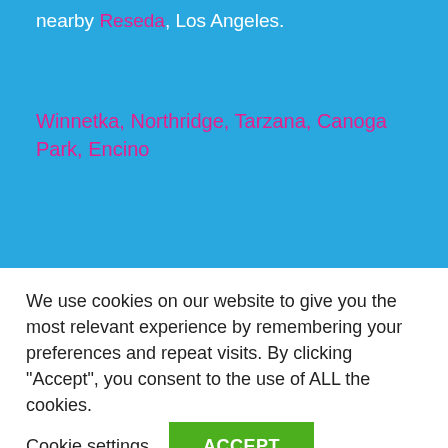nearby Reseda, Los Angeles.
Winnetka, Northridge, Tarzana, Canoga Park, Encino
We use cookies on our website to give you the most relevant experience by remembering your preferences and repeat visits. By clicking “Accept”, you consent to the use of ALL the cookies.
Cookie settings
ACCEPT